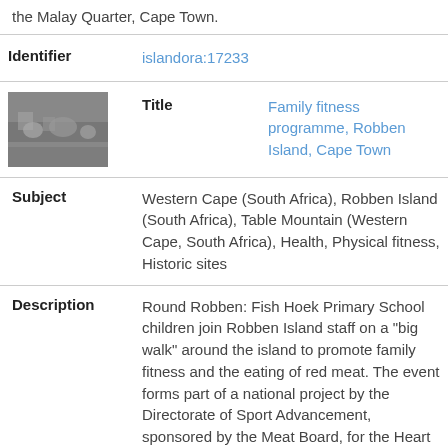the Malay Quarter, Cape Town.
| Field | Value |
| --- | --- |
| Identifier | islandora:17233 |
| Title | Family fitness programme, Robben Island, Cape Town |
| Subject | Western Cape (South Africa), Robben Island (South Africa), Table Mountain (Western Cape, South Africa), Health, Physical fitness, Historic sites |
| Description | Round Robben: Fish Hoek Primary School children join Robben Island staff on a "big walk" around the island to promote family fitness and the eating of red meat. The event forms part of a national project by the Directorate of Sport Advancement, sponsored by the Meat Board, for the Heart Foundation. Entrants in this and a |